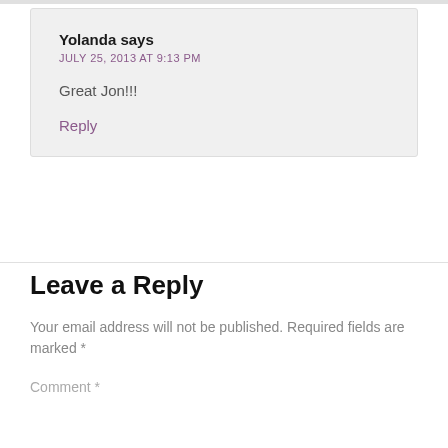Yolanda says
JULY 25, 2013 AT 9:13 PM
Great Jon!!!
Reply
Leave a Reply
Your email address will not be published. Required fields are marked *
Comment *